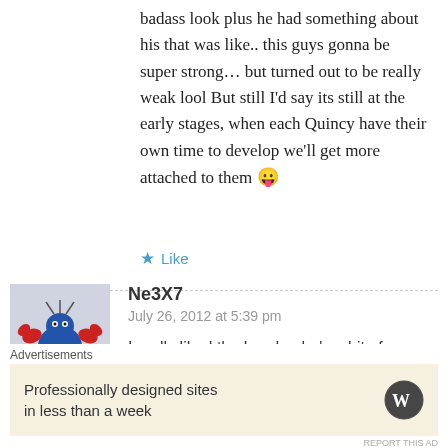badass look plus he had something about his that was like.. this guys gonna be super strong… but turned out to be really weak lool But still I'd say its still at the early stages, when each Quincy have their own time to develop we'll get more attached to them 😛
★ Like
Ne3X7
July 26, 2012 at 5:39 pm
[Figure (illustration): Avatar image of a cartoon crab/bird character in blue and red]
I really liked the Leader, he's a bit of Zangetsu, and the blonde Sternritter G
↩ Reply
Advertisements
Professionally designed sites in less than a week